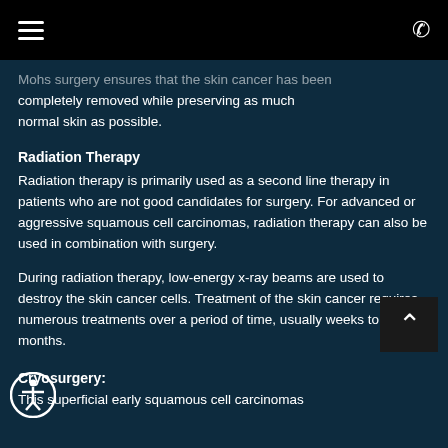Navigation bar with hamburger menu and phone icon
Mohs surgery ensures that the skin cancer has been completely removed while preserving as much normal skin as possible.
Radiation Therapy
Radiation therapy is primarily used as a second line therapy in patients who are not good candidates for surgery. For advanced or aggressive squamous cell carcinomas, radiation therapy can also be used in combination with surgery.
During radiation therapy, low-energy x-ray beams are used to destroy the skin cancer cells. Treatment of the skin cancer requires numerous treatments over a period of time, usually weeks to months.
Cryosurgery:
This superficial early squamous cell carcinomas